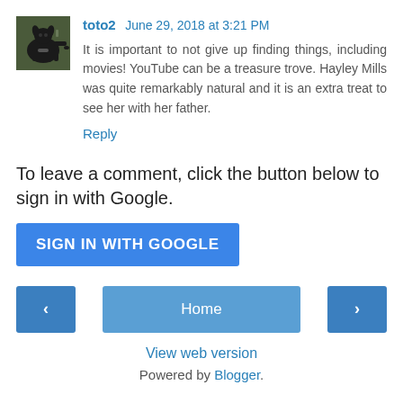[Figure (photo): Avatar photo of a black dog on grass]
toto2  June 29, 2018 at 3:21 PM
It is important to not give up finding things, including movies! YouTube can be a treasure trove. Hayley Mills was quite remarkably natural and it is an extra treat to see her with her father.
Reply
To leave a comment, click the button below to sign in with Google.
[Figure (other): SIGN IN WITH GOOGLE button]
Home
View web version
Powered by Blogger.